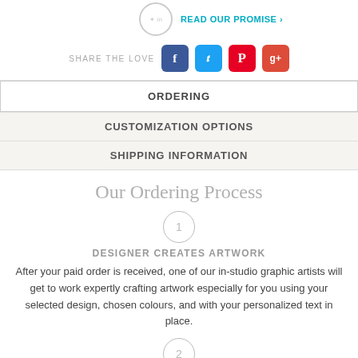[Figure (logo): Partial circular logo/badge at top left]
READ OUR PROMISE >
SHARE THE LOVE [Facebook] [Twitter] [Pinterest] [Google+]
ORDERING
CUSTOMIZATION OPTIONS
SHIPPING INFORMATION
Our Ordering Process
[Figure (infographic): Step 1 circle icon]
DESIGNER CREATES ARTWORK
After your paid order is received, one of our in-studio graphic artists will get to work expertly crafting artwork especially for you using your selected design, chosen colours, and with your personalized text in place.
[Figure (infographic): Step 2 circle icon]